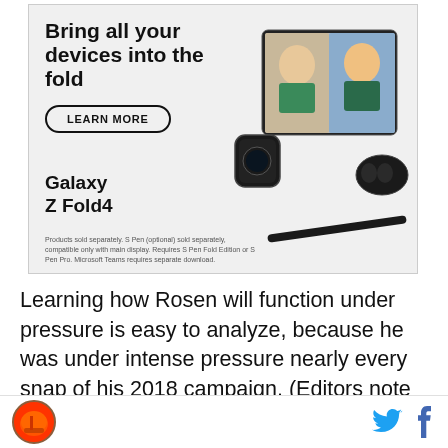[Figure (advertisement): Samsung Galaxy Z Fold4 advertisement with headline 'Bring all your devices into the fold', a 'LEARN MORE' button, product name 'Galaxy Z Fold4', product images of phone, tablet, watch, earbuds and stylus on gray background, and fine print disclaimer text.]
Learning how Rosen will function under pressure is easy to analyze, because he was under intense pressure nearly every snap of his 2018 campaign. (Editors note #2: It's wild to me that Kolton Miller is considered a 1st round pick in the draft, given that watching the UCLA tape represents a large sample
[Cleveland Browns logo] [Twitter icon] [Facebook icon]